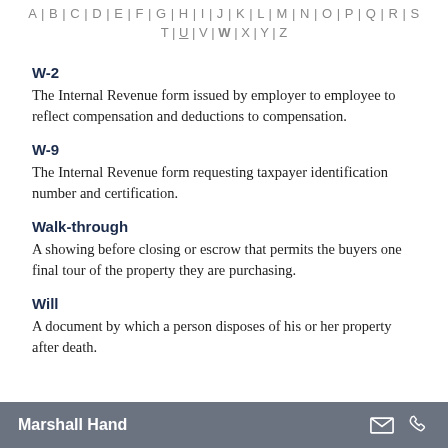A | B | C | D | E | F | G | H | I | J | K | L | M | N | O | P | Q | R | S
T | U | V | W | X | Y | Z
W-2
The Internal Revenue form issued by employer to employee to reflect compensation and deductions to compensation.
W-9
The Internal Revenue form requesting taxpayer identification number and certification.
Walk-through
A showing before closing or escrow that permits the buyers one final tour of the property they are purchasing.
Will
A document by which a person disposes of his or her property after death.
Marshall Hand